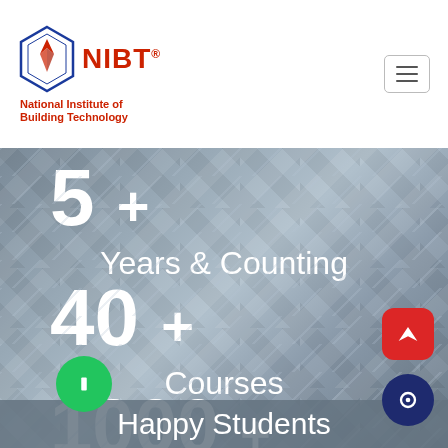[Figure (logo): NIBT logo — pentagon/shield shape in blue with a red star/arrow icon, beside red text 'NIBT' with registered mark, below it 'National Institute of Building Technology' in red]
5 +
Years & Counting
40 +
Courses
1000 +
Happy Students